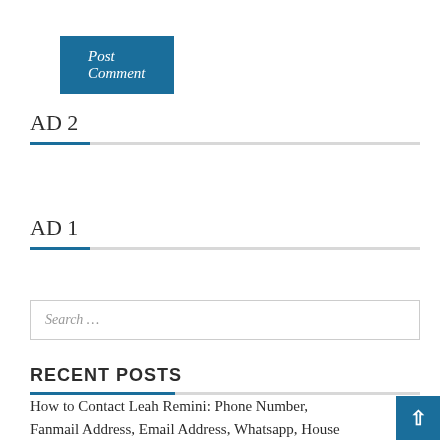Post Comment
AD 2
AD 1
Search …
RECENT POSTS
How to Contact Leah Remini: Phone Number, Fanmail Address, Email Address, Whatsapp, House